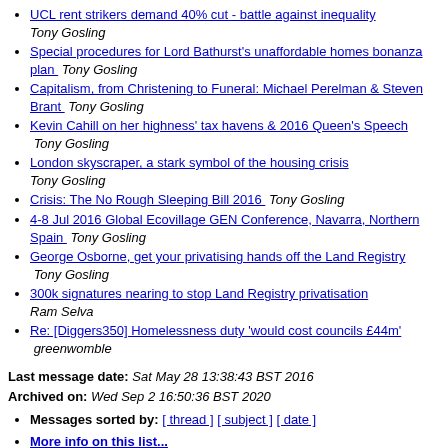UCL rent strikers demand 40% cut - battle against inequality  Tony Gosling
Special procedures for Lord Bathurst's unaffordable homes bonanza plan   Tony Gosling
Capitalism, from Christening to Funeral: Michael Perelman & Steven Brant   Tony Gosling
Kevin Cahill on her highness' tax havens & 2016 Queen's Speech   Tony Gosling
London skyscraper, a stark symbol of the housing crisis  Tony Gosling
Crisis: The No Rough Sleeping Bill 2016   Tony Gosling
4-8 Jul 2016 Global Ecovillage GEN Conference, Navarra, Northern Spain   Tony Gosling
George Osborne, get your privatising hands off the Land Registry   Tony Gosling
300k signatures nearing to stop Land Registry privatisation  Ram Selva
Re: [Diggers350] Homelessness duty 'would cost councils £44m'   greenwomble
Last message date: Sat May 28 13:38:43 BST 2016
Archived on: Wed Sep 2 16:50:36 BST 2020
Messages sorted by: [ thread ] [ subject ] [ date ]
More info on this list...